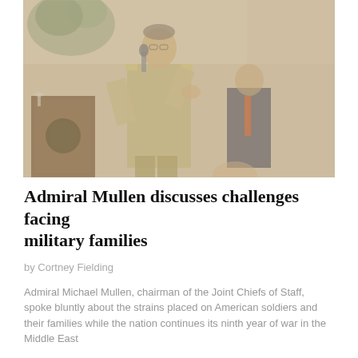[Figure (photo): A military officer in a tan/khaki uniform holding a microphone and speaking at an event. A podium with a seal is visible at the left. A man in a suit with an orange tie stands in the background. The photo has a warm, slightly washed-out tone.]
Admiral Mullen discusses challenges facing military families
by Cortney Fielding
Admiral Michael Mullen, chairman of the Joint Chiefs of Staff, spoke bluntly about the strains placed on American soldiers and their families while the nation continues its ninth year of war in the Middle East